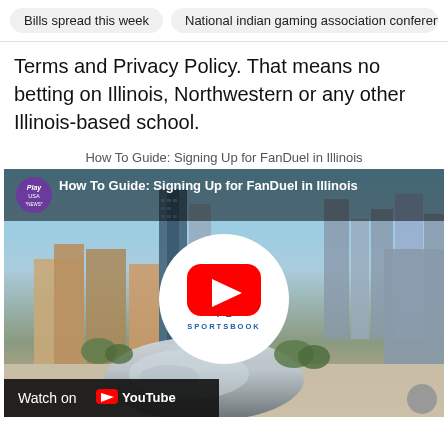Bills spread this week | National indian gaming association conference
Terms and Privacy Policy. That means no betting on Illinois, Northwestern or any other Illinois-based school.
How To Guide: Signing Up for FanDuel in Illinois
[Figure (screenshot): Video thumbnail showing Chicago skyline with Cloud Gate sculpture and FanDuel Sportsbook logo overlay with YouTube play button. Shows 'Play USA News' logo and title 'How To Guide: Signing Up for FanDuel in Illinois'. Bottom bar reads 'Watch on YouTube'.]